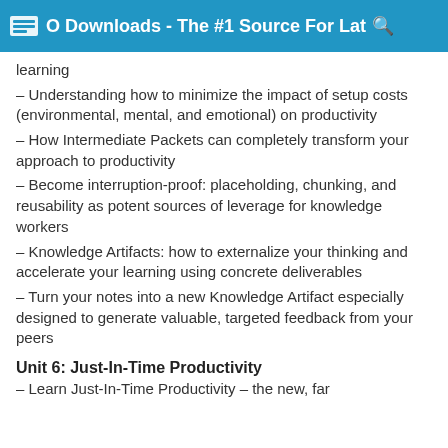WSO Downloads - The #1 Source For Lat
learning
– Understanding how to minimize the impact of setup costs (environmental, mental, and emotional) on productivity
– How Intermediate Packets can completely transform your approach to productivity
– Become interruption-proof: placeholding, chunking, and reusability as potent sources of leverage for knowledge workers
– Knowledge Artifacts: how to externalize your thinking and accelerate your learning using concrete deliverables
– Turn your notes into a new Knowledge Artifact especially designed to generate valuable, targeted feedback from your peers
Unit 6: Just-In-Time Productivity
– Learn Just-In-Time Productivity – the new, far